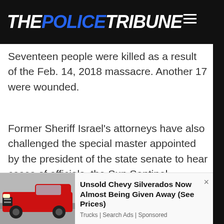THE POLICE TRIBUNE
Seventeen people were killed as a result of the Feb. 14, 2018 massacre. Another 17 were wounded.
Former Sheriff Israel's attorneys have also challenged the special master appointed by the president of the state senate to hear cases of officials, the Sun Sentinel reported.
[Figure (photo): Red Chevy Silverado truck parked in a lot]
Unsold Chevy Silverados Now Almost Being Given Away (See Prices) Trucks | Search Ads | Sponsored